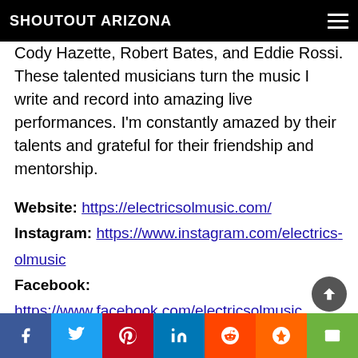SHOUTOUT ARIZONA
Cody Hazette, Robert Bates, and Eddie Rossi. These talented musicians turn the music I write and record into amazing live performances. I'm constantly amazed by their talents and grateful for their friendship and mentorship.
Website: https://electricsolmusic.com/
Instagram: https://www.instagram.com/electricsolmusic
Facebook: https://www.facebook.com/electricsolmusic
Youtube: https://www.youtube.com/electricsol
Other: Spotify: